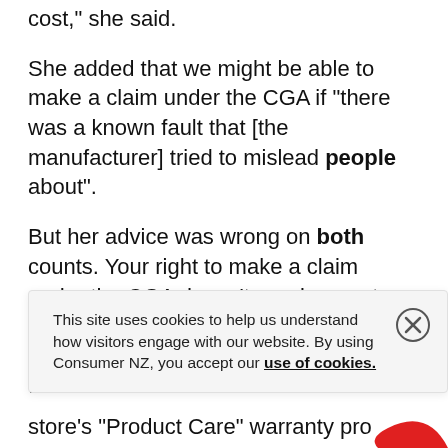cost," she said.
She added that we might be able to make a claim under the CGA if “there was a known fault that [the manufacturer] tried to mislead people about”.
But her advice was wrong on both counts. Your right to make a claim under the CGA doesn’t require you to prove the manufacturer had been misleading people about known faults. If a
This site uses cookies to help us understand how visitors engage with our website. By using Consumer NZ, you accept our use of cookies.
store’s “Product Care” warranty pro